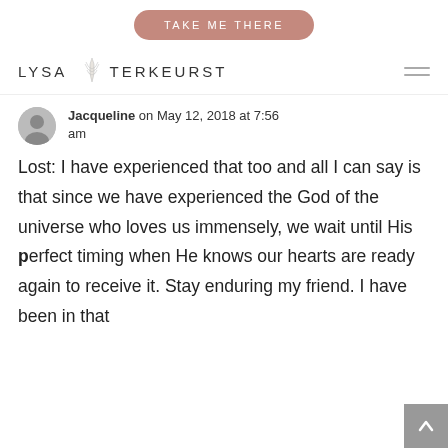[Figure (other): Button labeled TAKE ME THERE with rounded pill shape and dusty rose/mauve background color]
[Figure (logo): Lysa TerKeurst logo with decorative botanical leaf illustration and hamburger menu icon on the right]
Jacqueline on May 12, 2018 at 7:56 am
Lost: I have experienced that too and all I can say is that since we have experienced the God of the universe who loves us immensely, we wait until His perfect timing when He knows our hearts are ready again to receive it. Stay enduring my friend. I have been in that